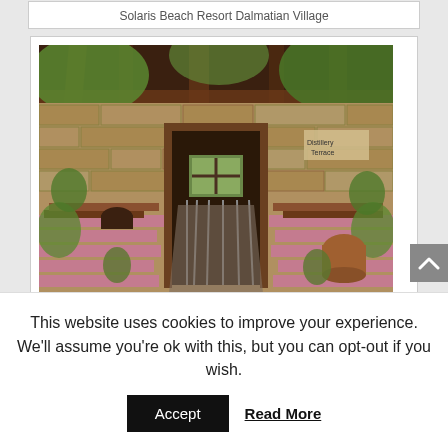Solaris Beach Resort Dalmatian Village
[Figure (photo): Outdoor restaurant/distillery courtyard with wooden beam ceiling, stone walls, wooden dining tables and benches with pink/purple tablecloths, green foliage overhead, and a central entrance doorway with iron gate. Sign reading 'Distillery' visible upper right.]
The distillery, Solaris Beach Resort
This website uses cookies to improve your experience. We'll assume you're ok with this, but you can opt-out if you wish.
Accept
Read More